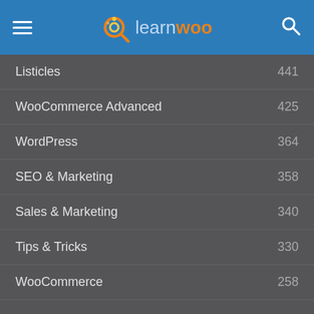learnwoo
Listicles 441
WooCommerce Advanced 425
WordPress 364
SEO & Marketing 358
Sales & Marketing 340
Tips & Tricks 330
WooCommerce 258
Social Media
Subscribe on YouTube
Like on Facebook